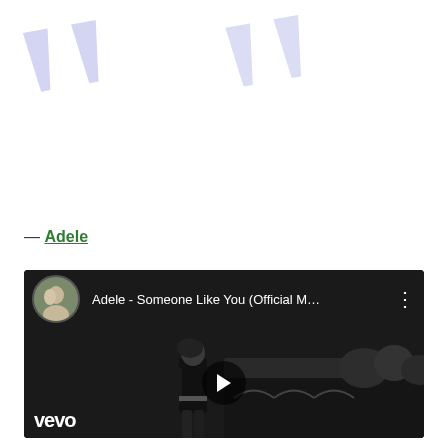[Figure (illustration): Large decorative blue/purple quotation marks in the background, faded and stylized]
— Adele
[Figure (screenshot): YouTube embed showing Adele - Someone Like You (Official M... video with Vevo branding. Shows a black and white still of Adele walking, with a play button overlay and a bridge/river in the background. Top bar shows Adele's profile picture thumbnail and video title.]